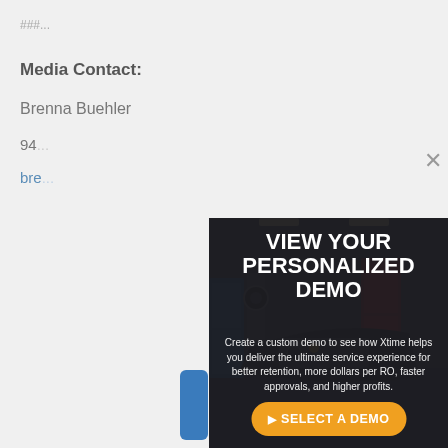Media Contact:
Brenna Buehler
94...
bre...
[Figure (screenshot): A modal popup overlay on top of a webpage. The modal shows a dark background with a garage/car service image. The modal contains title text 'VIEW YOUR PERSONALIZED DEMO', body text about creating a custom demo with Xtime, and an orange 'SELECT A DEMO' button. An X close button appears in the top right. A blue button is partially visible behind the modal.]
VIEW YOUR PERSONALIZED DEMO
Create a custom demo to see how Xtime helps you deliver the ultimate service experience for better retention, more dollars per RO, faster approvals, and higher profits.
SELECT A DEMO